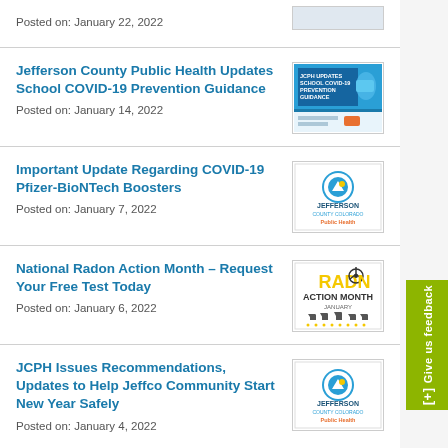Posted on: January 22, 2022
Jefferson County Public Health Updates School COVID-19 Prevention Guidance
Posted on: January 14, 2022
Important Update Regarding COVID-19 Pfizer-BioNTech Boosters
Posted on: January 7, 2022
National Radon Action Month – Request Your Free Test Today
Posted on: January 6, 2022
JCPH Issues Recommendations, Updates to Help Jeffco Community Start New Year Safely
Posted on: January 4, 2022